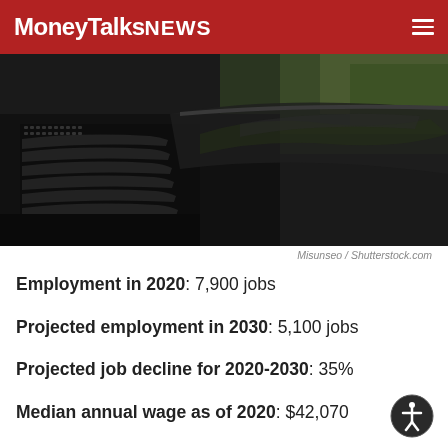MoneyTalksNews
[Figure (photo): Close-up photo of a dark/black car hood with vents and grille, with trees reflected in the surface]
Misunseo / Shutterstock.com
Employment in 2020: 7,900 jobs
Projected employment in 2030: 5,100 jobs
Projected job decline for 2020-2030: 35%
Median annual wage as of 2020: $42,070